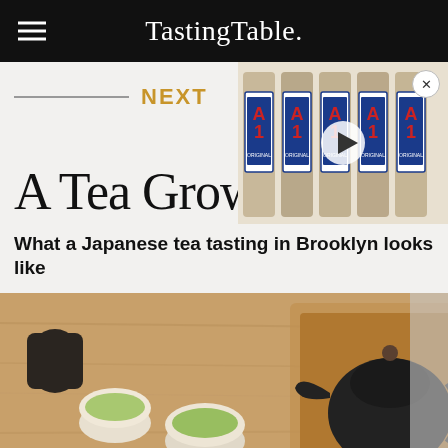Tasting Table.
NEXT
[Figure (photo): A1 Original sauce bottles on a shelf store display]
A Tea Grows
What a Japanese tea tasting in Brooklyn looks like
[Figure (photo): Overhead view of Japanese tea tasting setup with green tea cups and iron teapot on wooden table]